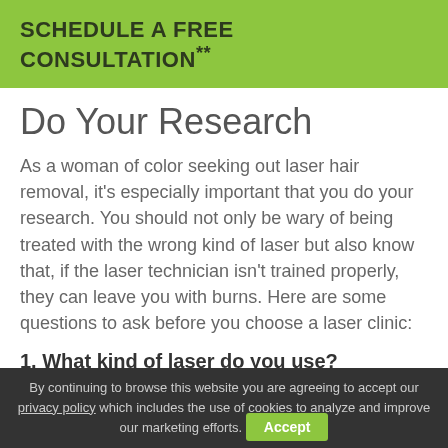SCHEDULE A FREE CONSULTATION**
Do Your Research
As a woman of color seeking out laser hair removal, it's especially important that you do your research. You should not only be wary of being treated with the wrong kind of laser but also know that, if the laser technician isn't trained properly, they can leave you with burns. Here are some questions to ask before you choose a laser clinic:
1. What kind of laser do you use?
By continuing to browse this website you are agreeing to accept our privacy policy which includes the use of cookies to analyze and improve our marketing efforts. Accept